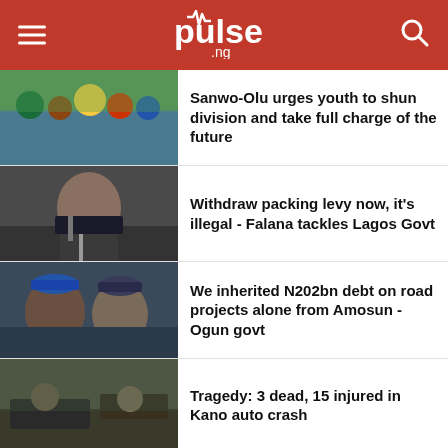pulse .ng
[Figure (photo): Group photo of people in colorful traditional attire at an event, with Sanwo-Olu visible]
Sanwo-Olu urges youth to shun division and take full charge of the future
[Figure (photo): Portrait of a man in a suit speaking at a podium with a microphone]
Withdraw packing levy now, it's illegal - Falana tackles Lagos Govt
[Figure (photo): Two men wearing traditional Nigerian caps, one with glasses]
We inherited N202bn debt on road projects alone from Amosun - Ogun govt
[Figure (photo): Scene of people at what appears to be an auto crash site]
Tragedy: 3 dead, 15 injured in Kano auto crash